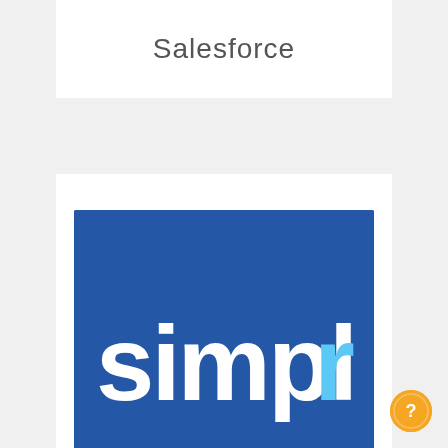Salesforce
[Figure (logo): Simplr logo: blue square background with white and light-blue text reading 'simplr']
simplr
[Figure (photo): Partially visible circular avatar/profile photo at the bottom of the page]